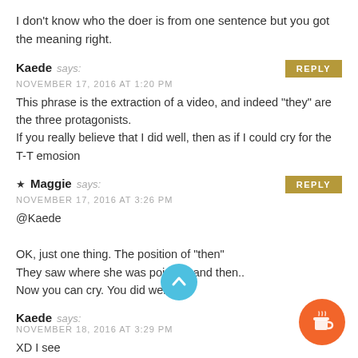I don't know who the doer is from one sentence but you got the meaning right.
Kaede says:
NOVEMBER 17, 2016 AT 1:20 PM
This phrase is the extraction of a video, and indeed "they" are the three protagonists.
If you really believe that I did well, then as if I could cry for the T-T emosion
★ Maggie says:
NOVEMBER 17, 2016 AT 3:26 PM
@Kaede

OK, just one thing. The position of "then"
They saw where she was pointing and then..
Now you can cry. You did well! 😸
Kaede says:
NOVEMBER 18, 2016 AT 3:29 PM
XD I see